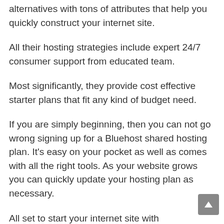alternatives with tons of attributes that help you quickly construct your internet site.
All their hosting strategies include expert 24/7 consumer support from educated team.
Most significantly, they provide cost effective starter plans that fit any kind of budget need.
If you are simply beginning, then you can not go wrong signing up for a Bluehost shared hosting plan. It's easy on your pocket as well as comes with all the right tools. As your website grows you can quickly update your hosting plan as necessary.
All set to start your internet site with Bluehost? Go here to choose your Bluehost plan.